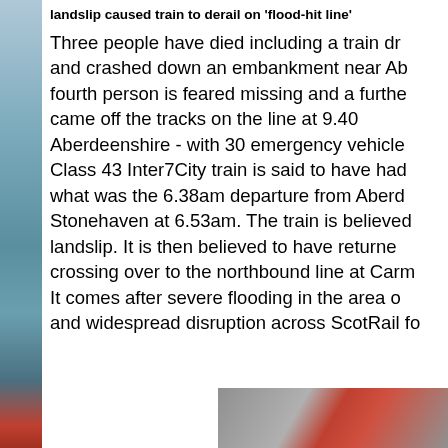landslip caused train to derail on 'flood-hit line'
Three people have died including a train dr and crashed down an embankment near Ab fourth person is feared missing and a furthe came off the tracks on the line at 9.40 Aberdeenshire - with 30 emergency vehicle Class 43 Inter7City train is said to have had what was the 6.38am departure from Aberd Stonehaven at 6.53am. The train is believed landslip. It is then believed to have returne crossing over to the northbound line at Carm It comes after severe flooding in the area o and widespread disruption across ScotRail fo
[Figure (photo): Partial view of a news article image at the bottom right, showing orange/red and grey tones, appears to be an emergency scene photo]